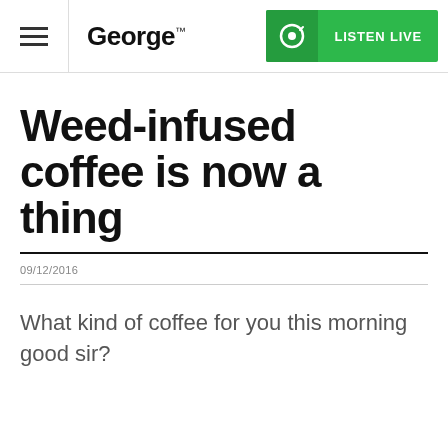George™ | LISTEN LIVE
Weed-infused coffee is now a thing
09/12/2016
What kind of coffee for you this morning good sir?